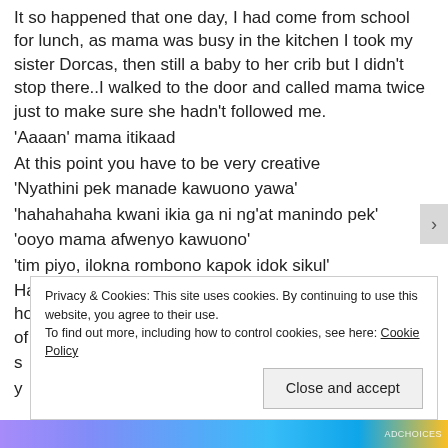It so happened that one day, I had come from school for lunch, as mama was busy in the kitchen I took my sister Dorcas, then still a baby to her crib but I didn't stop there..I walked to the door and called mama twice just to make sure she hadn't followed me.
'Aaaan' mama itikaad
At this point you have to be very creative
'Nyathini pek manade kawuono yawa'
'hahahahaha kwani ikia ga ni ng'at manindo pek'
'ooyo mama afwenyo kawuono'
'tim piyo, ilokna rombono kapok idok sikul'
Having made sure that the disciplinarian was busy, I hopped into her bedroom and opened the kabat..2kgs of Miksi just
s ... y ...
Privacy & Cookies: This site uses cookies. By continuing to use this website, you agree to their use. To find out more, including how to control cookies, see here: Cookie Policy
Close and accept